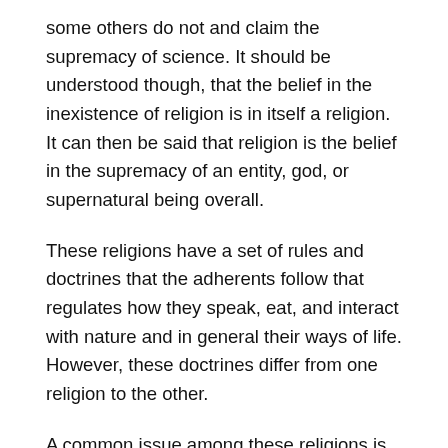some others do not and claim the supremacy of science. It should be understood though, that the belief in the inexistence of religion is in itself a religion. It can then be said that religion is the belief in the supremacy of an entity, god, or supernatural being overall.
These religions have a set of rules and doctrines that the adherents follow that regulates how they speak, eat, and interact with nature and in general their ways of life. However, these doctrines differ from one religion to the other.
A common issue among these religions is the status of women in their respective religions. The status of women differs according to religion and society in which they belong. In some communities, women are revered as gods and are highly respected. In some others, they are not only